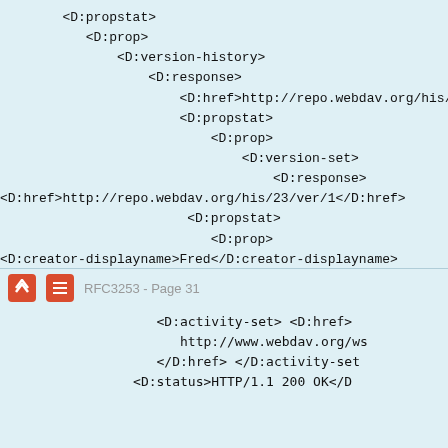<D:propstat>
  <D:prop>
    <D:version-history>
      <D:response>
        <D:href>http://repo.webdav.org/his/23<
        <D:propstat>
          <D:prop>
            <D:version-set>
              <D:response>
<D:href>http://repo.webdav.org/his/23/ver/1</D:href>
              <D:propstat>
                <D:prop>
<D:creator-displayname>Fred</D:creator-displayname>
RFC3253 - Page 31
<D:activity-set> <D:href>
  http://www.webdav.org/ws
</D:href> </D:activity-set
<D:status>HTTP/1.1 200 OK</D